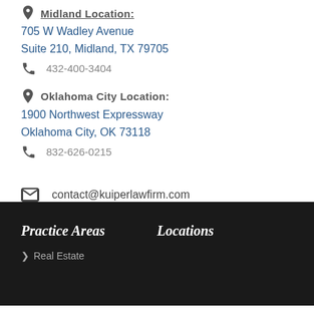Midland Location:
705 W Wadley Avenue
Suite 210, Midland, TX 79705
432-400-3404
Oklahoma City Location:
1900 Northwest Expressway
Oklahoma City, OK 73118
832-626-0215
contact@kuiperlawfirm.com
Practice Areas
Locations
Real Estate